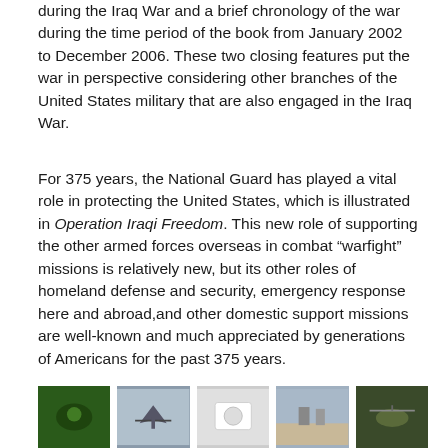during the Iraq War and a brief chronology of the war during the time period of the book from January 2002 to December 2006. These two closing features put the war in perspective considering other branches of the United States military that are also engaged in the Iraq War.
For 375 years, the National Guard has played a vital role in protecting the United States, which is illustrated in Operation Iraqi Freedom. This new role of supporting the other armed forces overseas in combat "warfight" missions is relatively new, but its other roles of homeland defense and security, emergency response here and abroad,and other domestic support missions are well-known and much appreciated by generations of Americans for the past 375 years.
[Figure (photo): Row of five small photographs at the bottom of the page showing military/National Guard scenes]